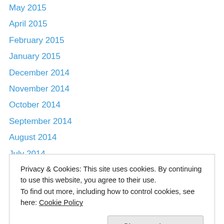May 2015
April 2015
February 2015
January 2015
December 2014
November 2014
October 2014
September 2014
August 2014
July 2014
June 2014
April 2014
March 2014
Privacy & Cookies: This site uses cookies. By continuing to use this website, you agree to their use. To find out more, including how to control cookies, see here: Cookie Policy
August 2013